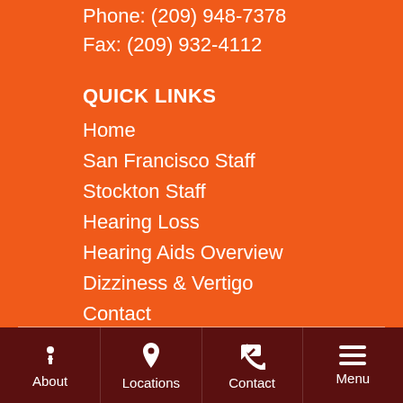Phone: (209) 948-7378
Fax: (209) 932-4112
QUICK LINKS
Home
San Francisco Staff
Stockton Staff
Hearing Loss
Hearing Aids Overview
Dizziness & Vertigo
Contact
About | Locations | Contact | Menu